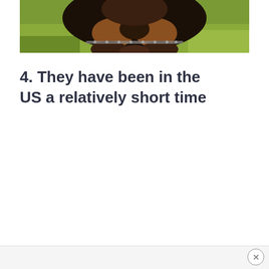[Figure (photo): Close-up photo of a Rottweiler dog face with black and tan fur, wearing a chain collar, against a green background]
4. They have been in the US a relatively short time